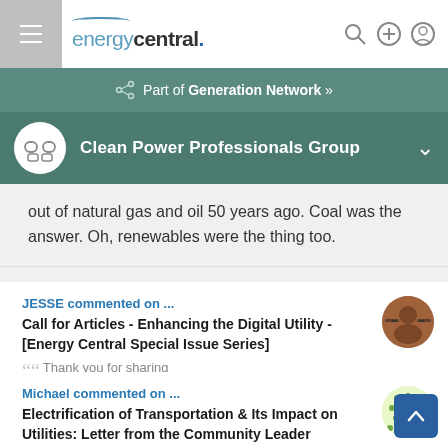energycentral.
Part of Generation Network »
Clean Power Professionals Group
out of natural gas and oil 50 years ago. Coal was the answer. Oh, renewables were the thing too.
JESSE commented on ...
Call for Articles - Enhancing the Digital Utility - [Energy Central Special Issue Series]
"Thank you for sharing
Michael commented on ...
Electrification of Transportation & Its Impact on Utilities: Letter from the Community Leader